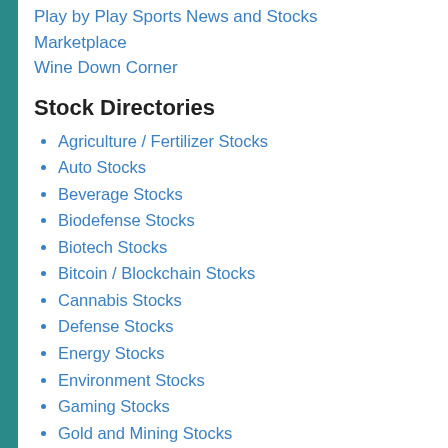Play by Play Sports News and Stocks
Marketplace
Wine Down Corner
Stock Directories
Agriculture / Fertilizer Stocks
Auto Stocks
Beverage Stocks
Biodefense Stocks
Biotech Stocks
Bitcoin / Blockchain Stocks
Cannabis Stocks
Defense Stocks
Energy Stocks
Environment Stocks
Gaming Stocks
Gold and Mining Stocks
Green and Eco-Friendly Stocks
Homebuilder / Real Estate
Health, Wellness and Sustainability Stocks
Luxury Brand Stocks
Mining Stocks
Music / Entertainment Stocks